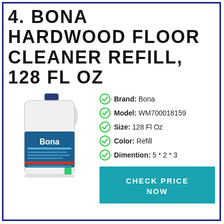4. BONA HARDWOOD FLOOR CLEANER REFILL, 128 FL OZ
[Figure (photo): Bona Hardwood Floor Cleaner Refill 128 fl oz white jug with blue cap and Bona label]
Brand: Bona
Model: WM700018159
Size: 128 Fl Oz
Color: Refill
Dimention: 5 * 2 * 3
CHECK PRICE NOW